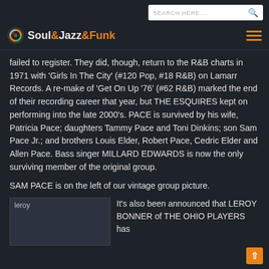Soul&Jazz&Funk
failed to register. They did, though, return to the R&B charts in 1971 with 'Girls In The City' (#120 Pop, #18 R&B) on Lamarr Records. A re-make of 'Get On Up '76' (#62 R&B) marked the end of their recording career that year, but THE ESQUIRES kept on performing into the late 2000's. PACE is survived by his wife, Patricia Pace; daughters Tammy Pace and Toni Dinkins; son Sam Pace Jr.; and brothers Louis Elder, Robert Pace, Cedric Elder and Allen Pace. Bass singer MILLARD EDWARDS is now the only surviving member of the original group.
SAM PACE is on the left of our vintage group picture.
[Figure (photo): Vintage group picture placeholder labeled 'leroy']
It's also been announced that LEROY BONNER of THE OHIO PLAYERS has